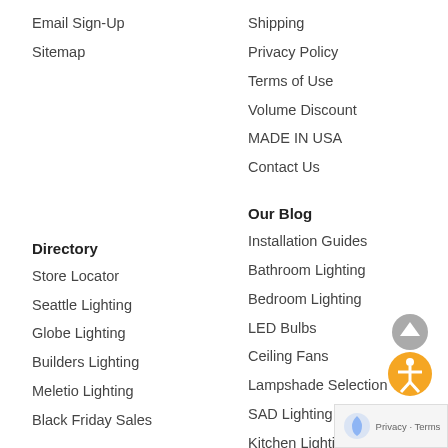Email Sign-Up
Sitemap
Shipping
Privacy Policy
Terms of Use
Volume Discount
MADE IN USA
Contact Us
Directory
Our Blog
Store Locator
Seattle Lighting
Globe Lighting
Builders Lighting
Meletio Lighting
Black Friday Sales
Installation Guides
Bathroom Lighting
Bedroom Lighting
LED Bulbs
Ceiling Fans
Lampshade Selection
SAD Lighting
Kitchen Lighting
Outdoor Lighting
Bathroom Hardware